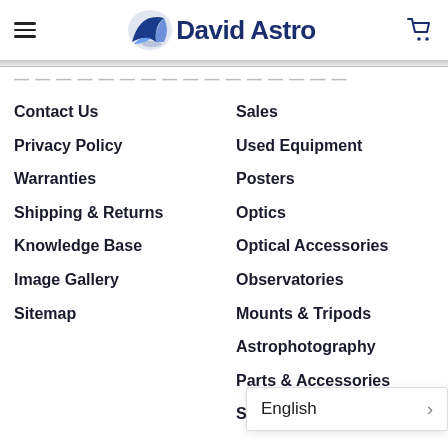David Astro
Contact Us
Privacy Policy
Warranties
Shipping & Returns
Knowledge Base
Image Gallery
Sitemap
Sales
Used Equipment
Posters
Optics
Optical Accessories
Observatories
Mounts & Tripods
Astrophotography
Parts & Accessories
Services
English